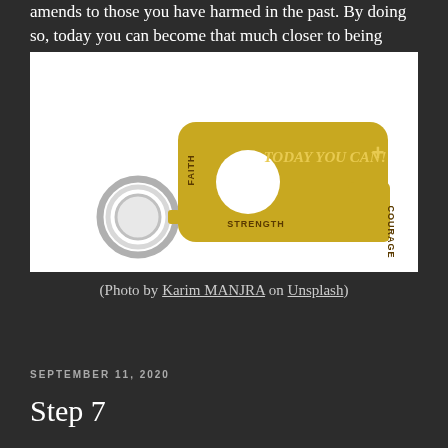amends to those you have harmed in the past. By doing so, today you can become that much closer to being free!
[Figure (photo): A gold-colored keychain tool engraved with the words 'TODAY YOU CAN!' on top, 'FAITH' on the left side, 'COURAGE' on the right side, and 'STRENGTH' at the bottom, with a silver keyring attached.]
(Photo by Karim MANJRA on Unsplash)
SEPTEMBER 11, 2020
Step 7